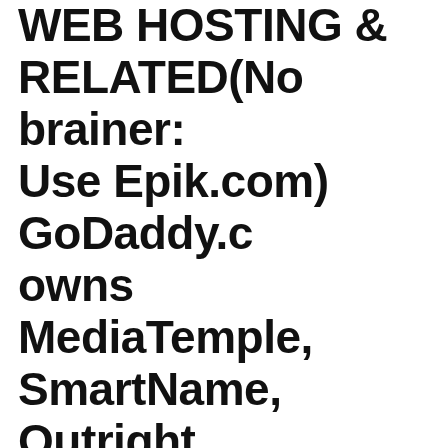WEB HOSTING & RELATED(No brainer: Use Epik.com) GoDaddy.c owns MediaTemple, SmartName, Outright accounting app, Mad Mimi, Elto, Marchex, Worldwide Media, FreedomVoice VOIP, ManageWP, Host Europe Group, Sucuri,